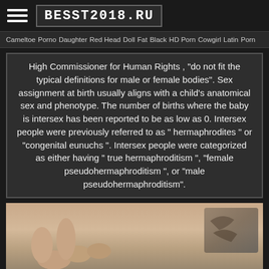BESST2018.RU
Cameltoe  Porno  Daughter  Red Head  Doll  Fat  Black  HD Porn  Cowgirl  Latin  Porn
High Commissioner for Human Rights , "do not fit the typical definitions for male or female bodies". Sex assignment at birth usually aligns with a child's anatomical sex and phenotype. The number of births where the baby is intersex has been reported to be as low as 0. Intersex people were previously referred to as " hermaphrodites " or "congenital eunuchs ". Intersex people were categorized as either having " true hermaphroditism ", "female pseudohermaphroditism ", or "male pseudohermaphroditism".
[Figure (photo): Close-up photo of hands/skin with tattoo visible in corner]